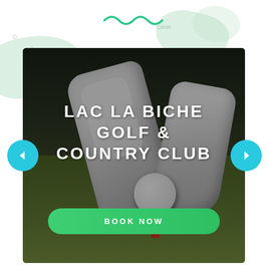[Figure (illustration): Teal wavy/tilde decoration at top center of page, above the main photo card]
[Figure (photo): Close-up photo of white golf shoes placing a golf ball on a red tee, green grass background, with large white bold uppercase text overlay reading 'LAC LA BICHE GOLF & COUNTRY CLUB', a cyan left-arrow navigation button, a cyan right-arrow navigation button, and a green rounded 'BOOK NOW' button near the bottom]
LAC LA BICHE GOLF & COUNTRY CLUB
BOOK NOW